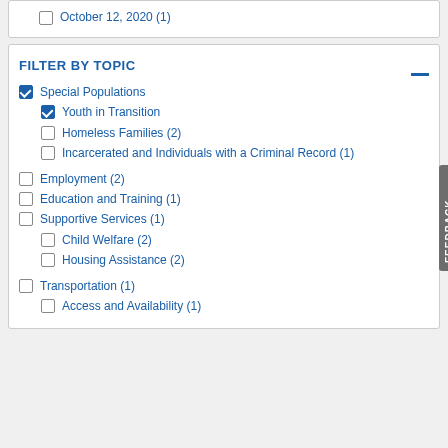October 12, 2020 (1)
FILTER BY TOPIC
Special Populations (checked)
Youth in Transition (checked)
Homeless Families (2)
Incarcerated and Individuals with a Criminal Record (1)
Employment (2)
Education and Training (1)
Supportive Services (1)
Child Welfare (2)
Housing Assistance (2)
Transportation (1)
Access and Availability (1)